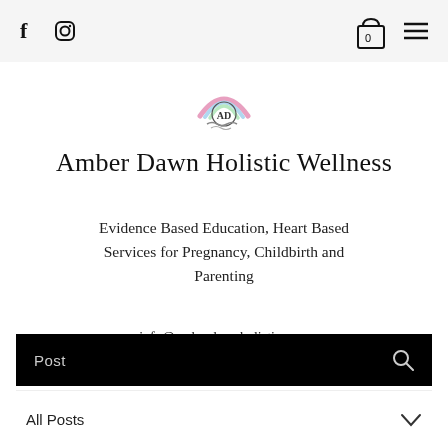f  [instagram icon]  [cart: 0]  [menu icon]
[Figure (logo): Amber Dawn Holistic Wellness circular logo with 'AD' letters, rainbow arc and water lines, pastel pink/blue/green gradient]
Amber Dawn Holistic Wellness
Evidence Based Education, Heart Based Services for Pregnancy, Childbirth and Parenting
info@amberdawnholistic.com
(902) 903-3371
Post
All Posts